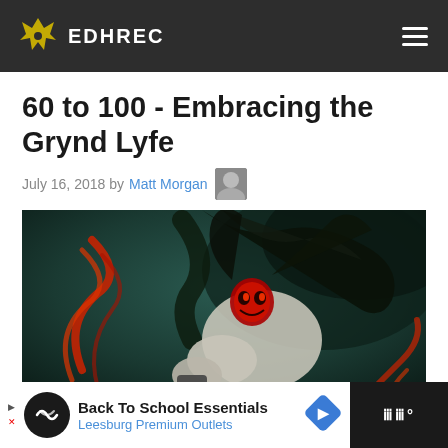EDHREC
60 to 100 - Embracing the Grynd Lyfe
July 16, 2018 by Matt Morgan
[Figure (illustration): Dark fantasy artwork depicting a monstrous creature with a red glowing face/skull mask, black flowing hair or wings, and a muscular arm reaching forward against a dark teal/green background with red energy swirls]
[Figure (infographic): Advertisement banner: Back To School Essentials - Leesburg Premium Outlets, with circular logo and blue diamond arrow icon]